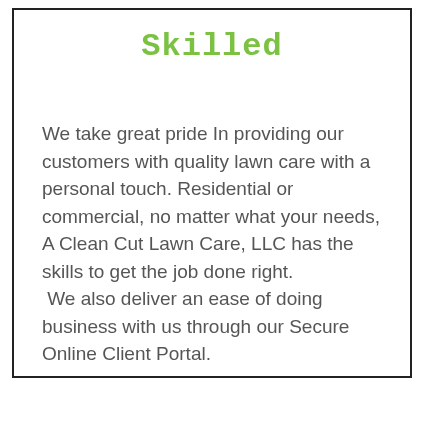Skilled
We take great pride In providing our customers with quality lawn care with a personal touch. Residential or commercial, no matter what your needs, A Clean Cut Lawn Care, LLC has the skills to get the job done right.
 We also deliver an ease of doing business with us through our Secure Online Client Portal.